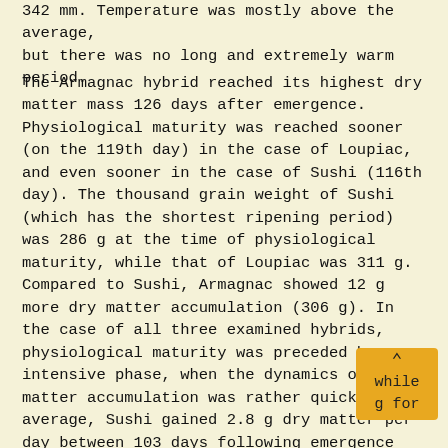342 mm. Temperature was mostly above the average, but there was no long and extremely warm period.
The Armagnac hybrid reached its highest dry matter mass 126 days after emergence. Physiological maturity was reached sooner (on the 119th day) in the case of Loupiac, and even sooner in the case of Sushi (116th day). The thousand grain weight of Sushi (which has the shortest ripening period) was 286 g at the time of physiological maturity, while that of Loupiac was 311 g. Compared to Sushi, Armagnac showed 12 g more dry matter accumulation (306 g). In the case of all three examined hybrids, physiological maturity was preceded by an intensive phase, when the dynamics of dry matter accumulation was rather quick. On average, Sushi gained 2.8 g dry matter per day between 103 days following emergence and physiological maturity, while the same values were 3.2 g for Armagnac and 3.3 g for Loupiac. The aim of the regression line slope is to